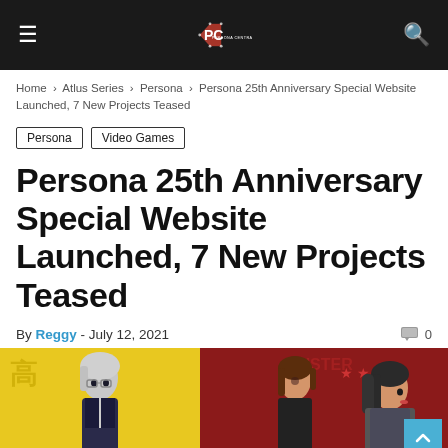Persona Central
Home › Atlus Series › Persona › Persona 25th Anniversary Special Website Launched, 7 New Projects Teased
Persona
Video Games
Persona 25th Anniversary Special Website Launched, 7 New Projects Teased
By Reggy - July 12, 2021   0
[Figure (illustration): Anime-style characters from the Persona series: a silver-haired character on a yellow background on the left, and two characters on a red background with stars on the right.]